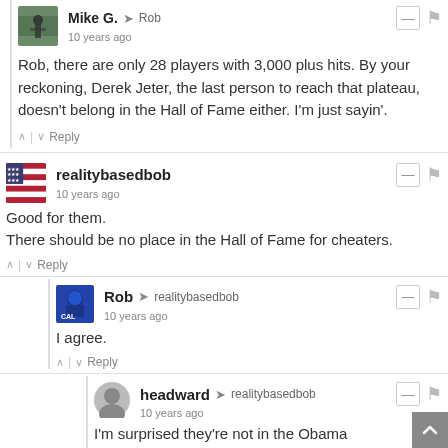Mike G. → Rob
10 years ago
Rob, there are only 28 players with 3,000 plus hits. By your reckoning, Derek Jeter, the last person to reach that plateau, doesn't belong in the Hall of Fame either. I'm just sayin'.
realitybasedbob
10 years ago
Good for them.
There should be no place in the Hall of Fame for cheaters.
Rob → realitybasedbob
10 years ago
I agree.
headward → realitybasedbob
10 years ago
I'm surprised they're not in the Obama administration.